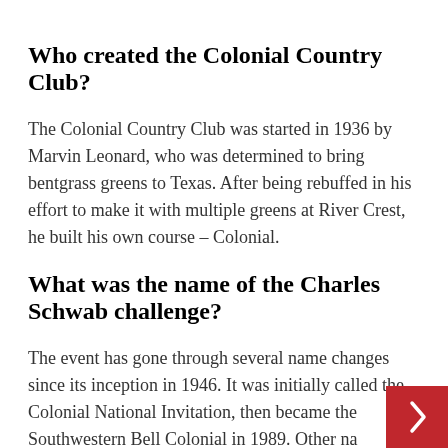Who created the Colonial Country Club?
The Colonial Country Club was started in 1936 by Marvin Leonard, who was determined to bring bentgrass greens to Texas. After being rebuffed in his effort to make it with multiple greens at River Crest, he built his own course – Colonial.
What was the name of the Charles Schwab challenge?
The event has gone through several name changes since its inception in 1946. It was initially called the Colonial National Invitation, then became the Southwestern Bell Colonial in 1989. Other names have included the Crowne Plaza Invitational at Colonial. More recently, it became the Charles